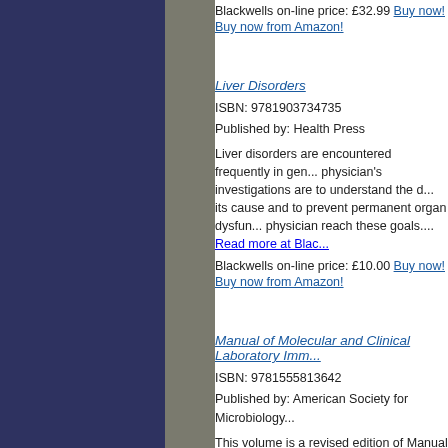Blackwells on-line price: £32.99 Buy now! Buy now from Amazon!
Liver Disorders
ISBN: 9781903734735
Published by: Health Press
Liver disorders are encountered frequently in general practice and the physician's investigations are to understand the diagnosis, to determine its cause and to prevent permanent organ dysfunction. To help the physician reach these goals.... Read more at Blackwells
Blackwells on-line price: £10.00 Buy now! Buy now from Amazon!
Manual of Molecular and Clinical Laboratory Immunology
ISBN: 9781555813642
Published by: American Society for Microbiology
This volume is a revised edition of Manual of clinical laboratory immunology, 6th ed. (2002), with the addition of 'molecular' to the title